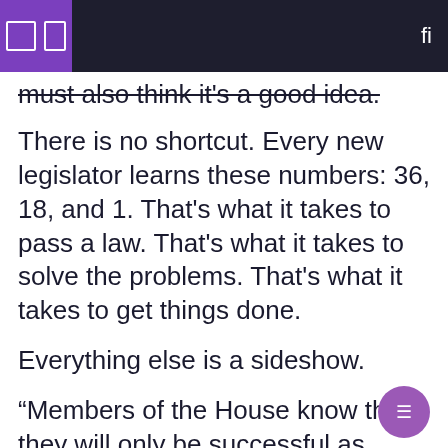must also think it's a good idea.
There is no shortcut. Every new legislator learns these numbers: 36, 18, and 1. That's what it takes to pass a law. That's what it takes to solve the problems. That's what it takes to get things done.
Everything else is a sideshow.
“Members of the House know that they will only be successful as legislators if they work with the Senate (to pass bills), and vice versa,” Bedke said. “When we go back to the basics of